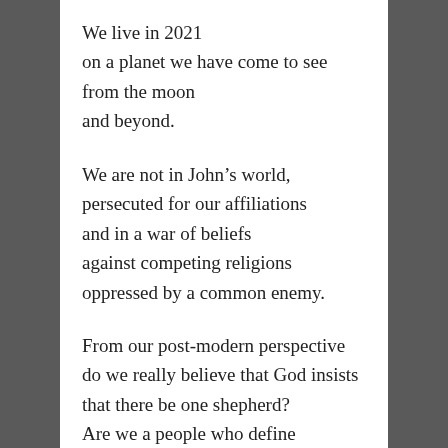We live in 2021
on a planet we have come to see
from the moon
and beyond.
We are not in John's world,
persecuted for our affiliations
and in a war of beliefs
against competing religions
oppressed by a common enemy.
From our post-modern perspective
do we really believe that God insists
that there be one shepherd?
Are we a people who define ourselves
over and against Muslim believers,
or Jewish believers,